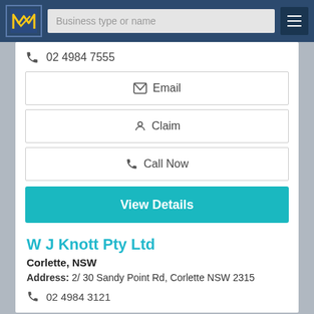[Figure (screenshot): Website header bar with logo, search field reading 'Business type or name', and hamburger menu icon]
02 4984 7555
✉ Email
👤 Claim
📞 Call Now
View Details
W J Knott Pty Ltd
Corlette, NSW
Address: 2/ 30 Sandy Point Rd, Corlette NSW 2315
02 4984 3121